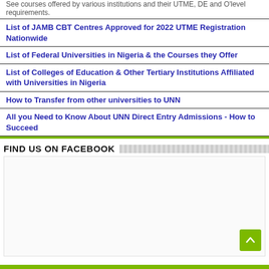See courses offered by various institutions and their UTME, DE and O'level requirements.
List of JAMB CBT Centres Approved for 2022 UTME Registration Nationwide
List of Federal Universities in Nigeria & the Courses they Offer
List of Colleges of Education & Other Tertiary Institutions Affiliated with Universities in Nigeria
How to Transfer from other universities to UNN
All you Need to Know About UNN Direct Entry Admissions - How to Succeed
FIND US ON FACEBOOK
[Figure (other): Facebook widget placeholder box with back-to-top green button]